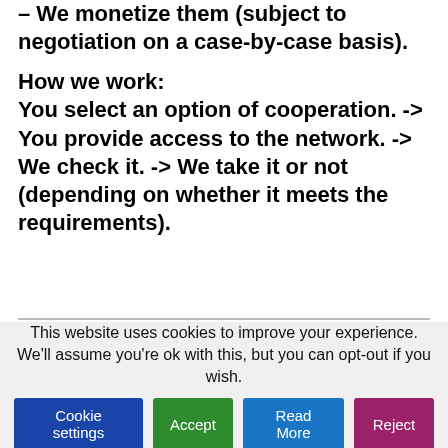– We monetize them (subject to negotiation on a case-by-case basis).

How we work:
You select an option of cooperation. -> You provide access to the network. -> We check it. -> We take it or not (depending on whether it meets the requirements).
This website uses cookies to improve your experience. We'll assume you're ok with this, but you can opt-out if you wish.